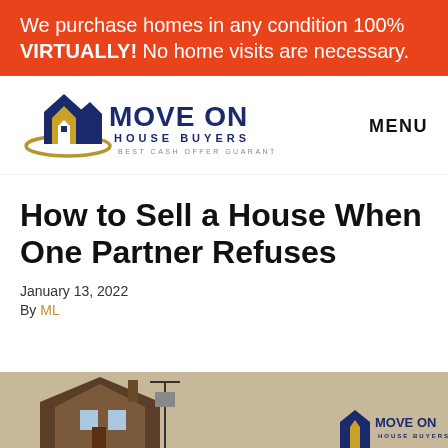We purchase homes in any condition 100% VIRTUALLY! No home visits are necessary.
[Figure (logo): Move On House Buyers logo with house icon and text 'BEST CASH OFFER GUARANTEE']
MENU
How to Sell a House When One Partner Refuses
January 13, 2022
By ML
[Figure (photo): House photo with Move On House Buyers logo watermark at bottom of page]